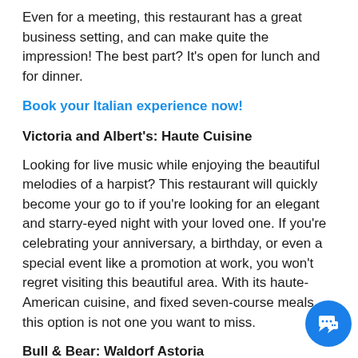Even for a meeting, this restaurant has a great business setting, and can make quite the impression! The best part? It's open for lunch and for dinner.
Book your Italian experience now!
Victoria and Albert's: Haute Cuisine
Looking for live music while enjoying the beautiful melodies of a harpist? This restaurant will quickly become your go to if you're looking for an elegant and starry-eyed night with your loved one. If you're celebrating your anniversary, a birthday, or even a special event like a promotion at work, you won't regret visiting this beautiful area. With its haute-American cuisine, and fixed seven-course meals, this option is not one you want to miss.
Bull & Bear: Waldorf Astoria
This one is our very favorite steakhouses. Offering a eclectic range of fine foods from saaancat to roasted